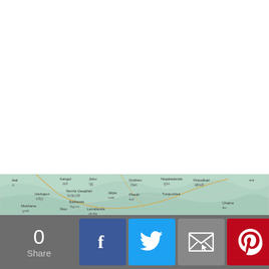[Figure (map): Topographic/road map showing a region of Nepal with place names in English and Devanagari script. Visible locations include Kangol, Jubu, Dobhan, Nepaledanda, Khandbari, Necria Geoghan, Harkapur, Siddhanala, Jalpa, Phedri, Turquoidea, Mubhana, Mou, Lamidanda, and Chaina among others.]
0
Share
[Figure (infographic): Social share bar with count 0 and Share label, Facebook button (blue with f icon), Twitter button (light blue with bird icon), Email button (grey with envelope icon), Pinterest button (red with P icon), and More button (orange-red with + icon).]